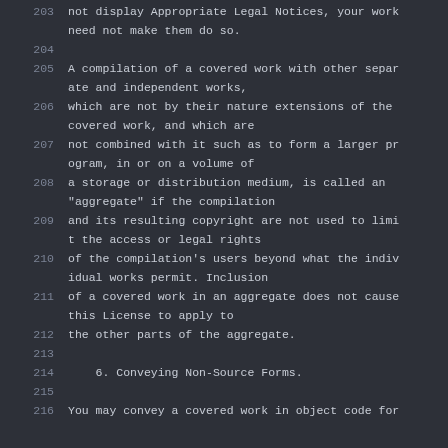203  not display Appropriate Legal Notices, your work need not make them do so.
204
205  A compilation of a covered work with other separate and independent works,
206  which are not by their nature extensions of the covered work, and which are
207  not combined with it such as to form a larger program, in or on a volume of
208  a storage or distribution medium, is called an "aggregate" if the compilation
209  and its resulting copyright are not used to limit the access or legal rights
210  of the compilation's users beyond what the individual works permit. Inclusion
211  of a covered work in an aggregate does not cause this License to apply to
212  the other parts of the aggregate.
213
214      6. Conveying Non-Source Forms.
215
216  You may convey a covered work in object code for